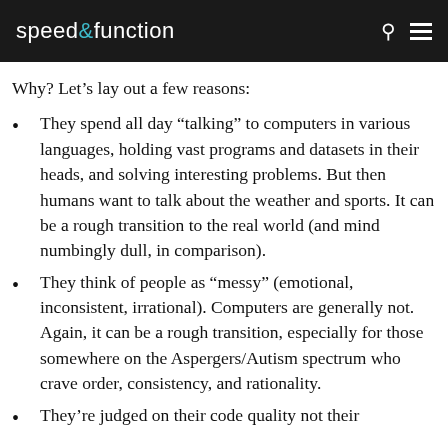speed & function
Why? Let’s lay out a few reasons:
They spend all day “talking” to computers in various languages, holding vast programs and datasets in their heads, and solving interesting problems. But then humans want to talk about the weather and sports. It can be a rough transition to the real world (and mind numbingly dull, in comparison).
They think of people as “messy” (emotional, inconsistent, irrational). Computers are generally not. Again, it can be a rough transition, especially for those somewhere on the Aspergers/Autism spectrum who crave order, consistency, and rationality.
They’re judged on their code quality not their